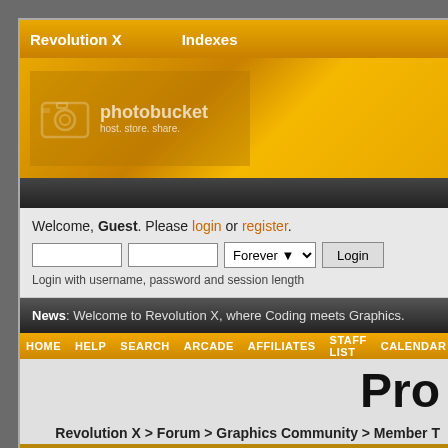Revolution X   Indexes
[Figure (screenshot): Photobucket banner advertisement with camera icon, 'photobucket' wordmark, and tagline 'host. store. share.' on gold/orange gradient background]
Welcome, Guest. Please login or register.
Login with username and password fields, Forever dropdown, Login button
Login with username, password and session length
News: Welcome to Revolution X, where Coding meets Graphics.
HOME   HELP   SEARCH   ARCADE   AFFILIATES   STAFF LIST   CALENDAR   MEM...
Pro
Revolution X > Forum > Graphics Community > Member T
Pages: [1]  Go Down
| Author | Topic: Pro Plus (Read 300 times) |
| --- | --- |